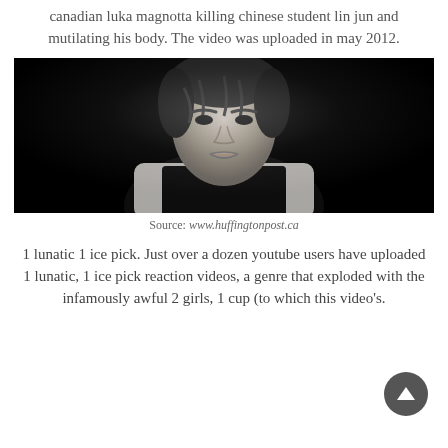canadian luka magnotta killing chinese student lin jun and mutilating his body. The video was uploaded in may 2012.
[Figure (photo): Black and white portrait photo of Luka Magnotta against a dark background, wearing a black sleeveless shirt, arms crossed.]
Source: www.huffingtonpost.ca
1 lunatic 1 ice pick. Just over a dozen youtube users have uploaded 1 lunatic, 1 ice pick reaction videos, a genre that exploded with the infamously awful 2 girls, 1 cup (to which this video's.